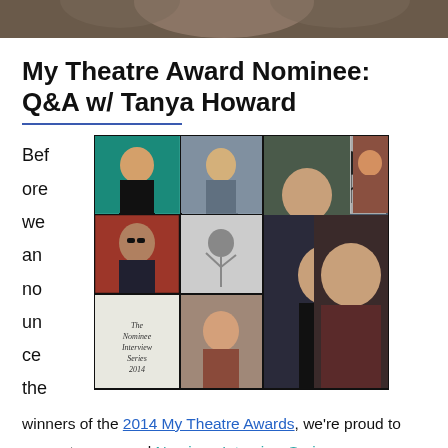[Figure (photo): Top portion of a person photo, cropped at the top of the page]
My Theatre Award Nominee: Q&A w/ Tanya Howard
[Figure (photo): A collage of theatre performer headshots and action photos labeled 'The Nominee Interview Series 2014']
Before we announce the winners of the 2014 My Theatre Awards, we're proud to present our annual Nominee Interview Series.